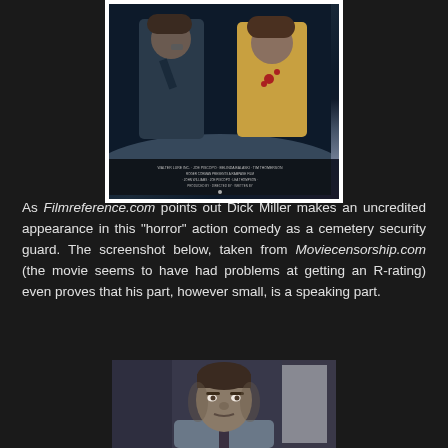[Figure (photo): Movie poster showing two action figures on a dark blue/teal background with fog effects, with small text credits at the bottom]
As Filmreference.com points out Dick Miller makes an uncredited appearance in this "horror" action comedy as a cemetery security guard. The screenshot below, taken from Moviecensorship.com (the movie seems to have had problems at getting an R-rating) even proves that his part, however small, is a speaking part.
[Figure (screenshot): Screenshot of a man (Dick Miller) from the movie, shown from the shoulders up against a light background]